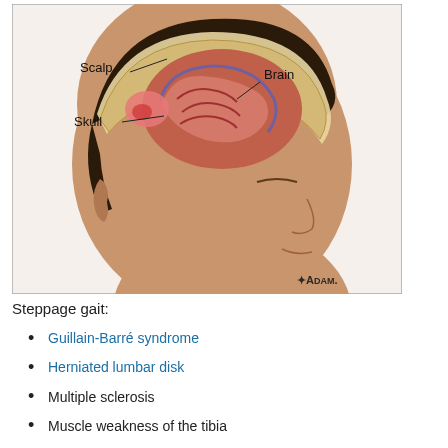[Figure (illustration): Medical illustration of a human head in profile (side view) showing a cutaway of the skull revealing the brain. Labels point to Scalp, Skull, and Brain. The ADAM. logo appears in the bottom right corner of the image.]
Steppage gait:
Guillain-Barré syndrome
Herniated lumbar disk
Multiple sclerosis
Muscle weakness of the tibia
Peroneal neuropathy
Polio